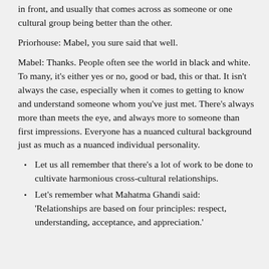in front, and usually that comes across as someone or one cultural group being better than the other.
Priorhouse: Mabel, you sure said that well.
Mabel: Thanks. People often see the world in black and white. To many, it's either yes or no, good or bad, this or that. It isn't always the case, especially when it comes to getting to know and understand someone whom you've just met. There's always more than meets the eye, and always more to someone than first impressions. Everyone has a nuanced cultural background just as much as a nuanced individual personality.
Let us all remember that there's a lot of work to be done to cultivate harmonious cross-cultural relationships.
Let's remember what Mahatma Ghandi said: 'Relationships are based on four principles: respect, understanding, acceptance, and appreciation.'